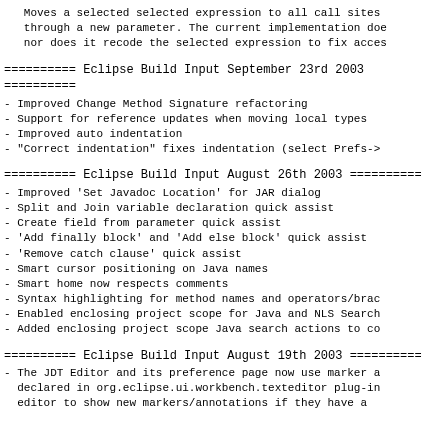Moves a selected selected expression to all call sites through a new parameter. The current implementation does not recode the selected expression to fix access
========== Eclipse Build Input September 23rd 2003 ==========
- Improved Change Method Signature refactoring
- Support for reference updates when moving local types
- Improved auto indentation
- "Correct indentation" fixes indentation (select Prefs->
========== Eclipse Build Input August 26th 2003 ==========
- Improved 'Set Javadoc Location' for JAR dialog
- Split and Join variable declaration quick assist
- Create field from parameter quick assist
- 'Add finally block' and 'Add else block' quick assist
- 'Remove catch clause' quick assist
- Smart cursor positioning on Java names
- Smart home now respects comments
- Syntax highlighting for method names and operators/brac
- Enabled enclosing project scope for Java and NLS Search
- Added enclosing project scope Java search actions to co
========== Eclipse Build Input August 19th 2003 ==========
- The JDT Editor and its preference page now use marker a declared in org.eclipse.ui.workbench.texteditor plug-in editor to show new markers/annotations if they have a